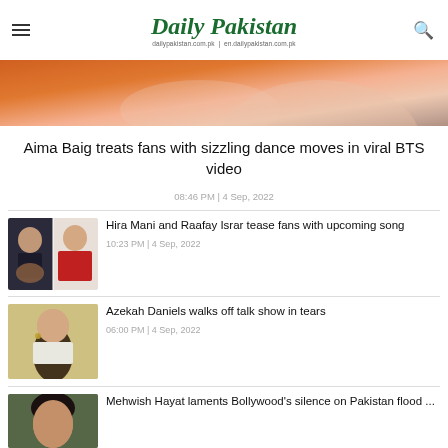Daily Pakistan | dailypakistan.com.pk | en.dailypakistan.com.pk
[Figure (photo): Partial view of a woman in warm lighting, orange/peach tones, hero image strip]
Aima Baig treats fans with sizzling dance moves in viral BTS video
08:46 PM | 4 Sep, 2022
[Figure (photo): Thumbnail collage of Hira Mani and Raafay Israr]
Hira Mani and Raafay Israr tease fans with upcoming song
10:23 PM | 4 Sep, 2022
[Figure (photo): Thumbnail of Azekah Daniels]
Azekah Daniels walks off talk show in tears
06:00 PM | 4 Sep, 2022
[Figure (photo): Thumbnail of Mehwish Hayat]
Mehwish Hayat laments Bollywood's silence on Pakistan flood ...